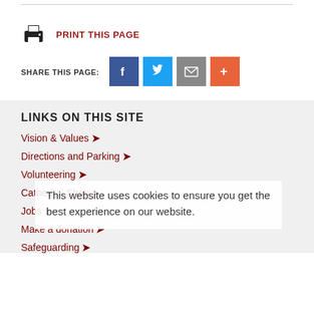[Figure (infographic): Print this page button with printer icon and dark red label]
SHARE THIS PAGE:
[Figure (infographic): Social share buttons: Facebook (blue), Twitter (light blue), Mail (grey), More (orange-red)]
LINKS ON THIS SITE
Vision & Values
Directions and Parking
Volunteering
Cathedral Shop
Jobs
Make a donation
Safeguarding
This website uses cookies to ensure you get the best experience on our website.